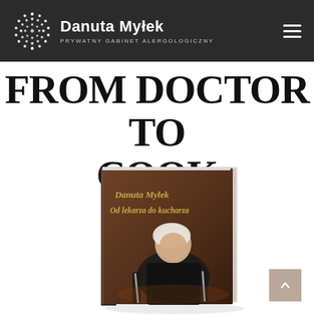Danuta Myłek — PRYWATNY GABINET ALERGOLOGICZNY
FROM DOCTOR TO COOK
[Figure (photo): A hardcover book titled 'Danuta Myłek Od lekarza do kucharza' (From Doctor to Cook) shown in 3D perspective. The cover features a woman with short white/blonde hair wearing a black turtleneck, holding kitchen utensils, set against a warm brown/dark background.]